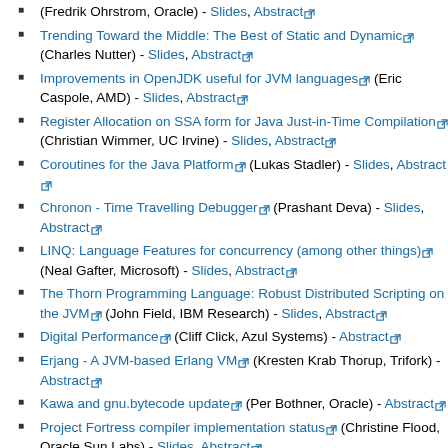(Fredrik Ohrstrom, Oracle) - Slides, Abstract
Trending Toward the Middle: The Best of Static and Dynamic (Charles Nutter) - Slides, Abstract
Improvements in OpenJDK useful for JVM languages (Eric Caspole, AMD) - Slides, Abstract
Register Allocation on SSA form for Java Just-in-Time Compilation (Christian Wimmer, UC Irvine) - Slides, Abstract
Coroutines for the Java Platform (Lukas Stadler) - Slides, Abstract
Chronon - Time Travelling Debugger (Prashant Deva) - Slides, Abstract
LINQ: Language Features for concurrency (among other things) (Neal Gafter, Microsoft) - Slides, Abstract
The Thorn Programming Language: Robust Distributed Scripting on the JVM (John Field, IBM Research) - Slides, Abstract
Digital Performance (Cliff Click, Azul Systems) - Abstract
Erjang - A JVM-based Erlang VM (Kresten Krab Thorup, Trifork) - Abstract
Kawa and gnu.bytecode update (Per Bothner, Oracle) - Abstract
Project Fortress compiler implementation status (Christine Flood, Oracle Sun Labs) - Slides, Abstract
Faking closures on the JVM isn't as simple as it looks (David Pollak) - Abstract